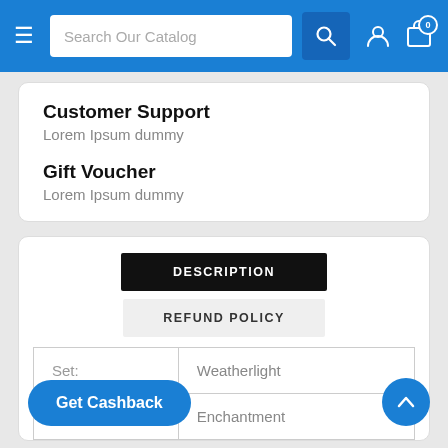[Figure (screenshot): Blue navigation bar with hamburger menu, search box labeled 'Search Our Catalog', search button, user icon, and cart icon with badge '0']
Customer Support
Lorem Ipsum dummy
Gift Voucher
Lorem Ipsum dummy
DESCRIPTION
REFUND POLICY
| Set: | Weatherlight |
|  | Enchantment |